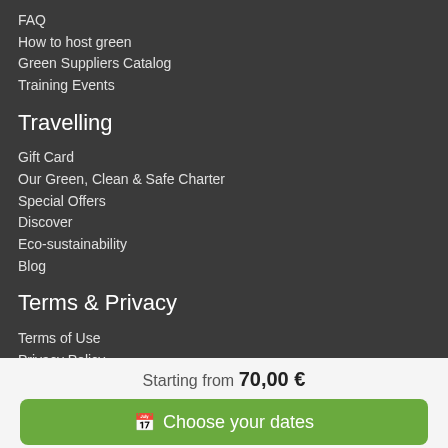FAQ
How to host green
Green Suppliers Catalog
Training Events
Travelling
Gift Card
Our Green, Clean & Safe Charter
Special Offers
Discover
Eco-sustainability
Blog
Terms & Privacy
Terms of Use
Privacy Policy
Cookie Policy
Starting from 70,00 €
Choose your dates